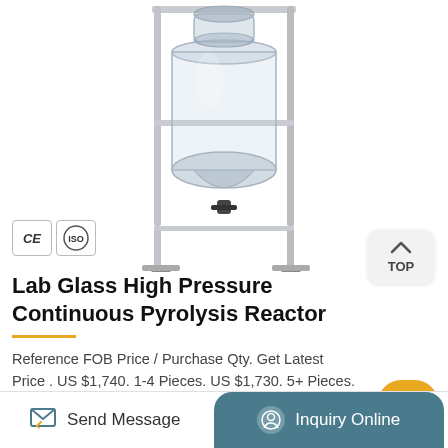[Figure (photo): Lab glass high pressure continuous pyrolysis reactor on a stainless steel frame with wheels, cylindrical glass vessel visible, photographed on white background]
Lab Glass High Pressure Continuous Pyrolysis Reactor
Reference FOB Price / Purchase Qty. Get Latest Price . US $1,740. 1-4 Pieces. US $1,730. 5+ Pieces. Type: ... S212-20L double-layer glass reactor is an ideal pilot test and production equipment for modern fine chemical...
Send Message  Inquiry Online